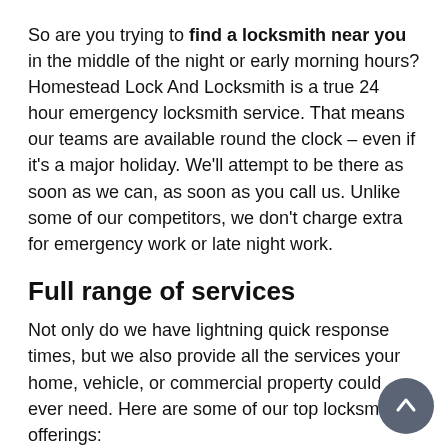So are you trying to find a locksmith near you in the middle of the night or early morning hours? Homestead Lock And Locksmith is a true 24 hour emergency locksmith service. That means our teams are available round the clock – even if it's a major holiday. We'll attempt to be there as soon as we can, as soon as you call us. Unlike some of our competitors, we don't charge extra for emergency work or late night work.
Full range of services
Not only do we have lightning quick response times, but we also provide all the services your home, vehicle, or commercial property could ever need. Here are some of our top locksmith offerings:
Lock repair: We can get your broken locks working again in a short span of time.
Lock rekeying: With rekeying, you can get better access control over your property by making your old